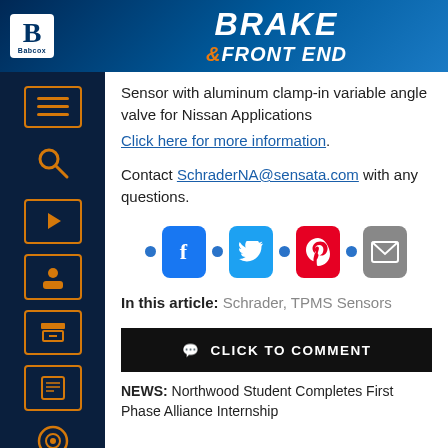BRAKE & FRONT END
Sensor with aluminum clamp-in variable angle valve for Nissan Applications
Click here for more information.

Contact SchraderNA@sensata.com with any questions.
[Figure (infographic): Social share icons: Facebook, Twitter, Pinterest, Email with blue dots]
In this article: Schrader, TPMS Sensors
CLICK TO COMMENT
NEWS: Northwood Student Completes First Phase Alliance Internship